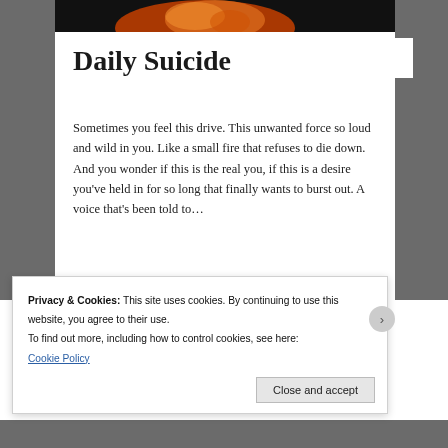[Figure (photo): Dark image with orange flame/fire element at top of article]
Daily Suicide
Sometimes you feel this drive. This unwanted force so loud and wild in you. Like a small fire that refuses to die down. And you wonder if this is the real you, if this is a desire you've held in for so long that finally wants to burst out. A voice that's been told to…
August 6, 2016 in Daily Ironic Posts, Love, Uncategorized.
Privacy & Cookies: This site uses cookies. By continuing to use this website, you agree to their use.
To find out more, including how to control cookies, see here:
Cookie Policy
Close and accept